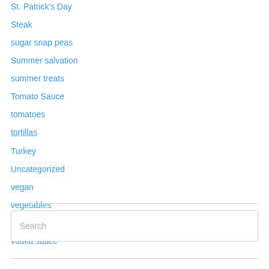St. Patrick's Day
Steak
sugar snap peas
Summer salvation
summer treats
Tomato Sauce
tomatoes
tortillas
Turkey
Uncategorized
vegan
vegetables
Vegetarian
vodka sauce